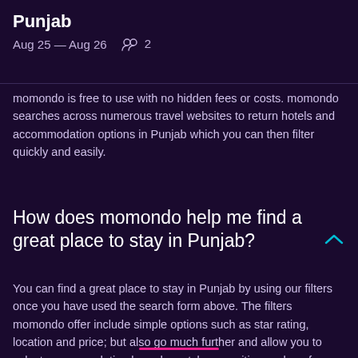Punjab
Aug 25 — Aug 26    2
momondo is free to use with no hidden fees or costs. momondo searches across numerous travel websites to return hotels and accommodation options in Punjab which you can then filter quickly and easily.
How does momondo help me find a great place to stay in Punjab?
You can find a great place to stay in Punjab by using our filters once you have used the search form above. The filters momondo offer include simple options such as star rating, location and price; but also go much further and allow you to select accommodation based on style, amenities such as free breakfast and internet as well as enhanced health and safety options.